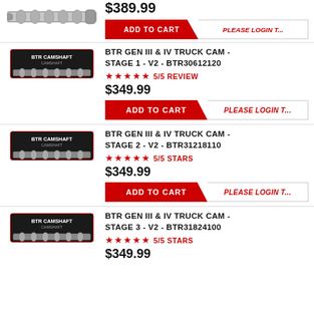[Figure (photo): Camshaft product photo - partial top row]
$389.99
ADD TO CART   PLEASE LOGIN T...
BTR GEN III & IV TRUCK CAM - STAGE 1 - V2 - BTR30612120
[Figure (photo): Camshaft product photo with BTR branding, Stage 1]
★★★★★ 5/5 REVIEW
$349.99
ADD TO CART   PLEASE LOGIN T...
BTR GEN III & IV TRUCK CAM - STAGE 2 - V2 - BTR31218110
[Figure (photo): Camshaft product photo with BTR branding, Stage 2]
★★★★★ 5/5 STARS
$349.99
ADD TO CART   PLEASE LOGIN T...
BTR GEN III & IV TRUCK CAM - STAGE 3 - V2 - BTR31824100
[Figure (photo): Camshaft product photo with BTR branding, Stage 3]
★★★★★ 5/5 STARS
$349.99